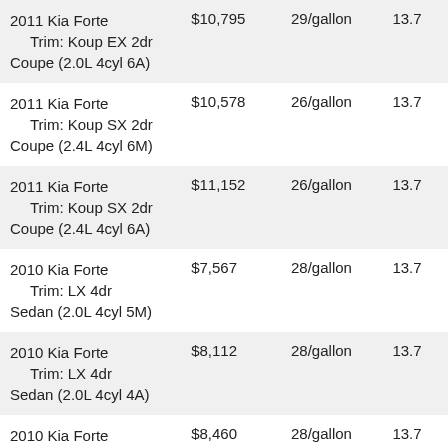| Vehicle | Price | Fuel Economy | Tank (gal) |
| --- | --- | --- | --- |
| 2011 Kia Forte Trim: Koup EX 2dr Coupe (2.0L 4cyl 6A) | $10,795 | 29/gallon | 13.7 |
| 2011 Kia Forte Trim: Koup SX 2dr Coupe (2.4L 4cyl 6M) | $10,578 | 26/gallon | 13.7 |
| 2011 Kia Forte Trim: Koup SX 2dr Coupe (2.4L 4cyl 6A) | $11,152 | 26/gallon | 13.7 |
| 2010 Kia Forte Trim: LX 4dr Sedan (2.0L 4cyl 5M) | $7,567 | 28/gallon | 13.7 |
| 2010 Kia Forte Trim: LX 4dr Sedan (2.0L 4cyl 4A) | $8,112 | 28/gallon | 13.7 |
| 2010 Kia Forte Trim: EX 4dr ... | $8,460 | 28/gallon | 13.7 |